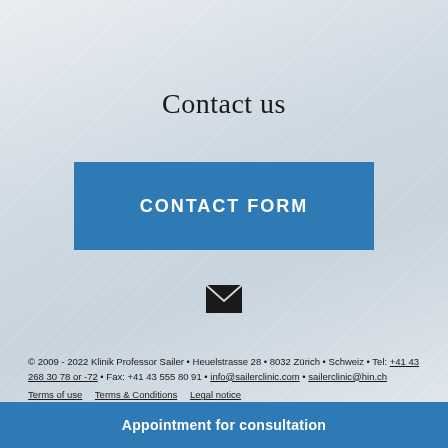Contact us
[Figure (other): Blue button labeled CONTACT FORM]
[Figure (other): Email envelope icon]
© 2009 - 2022 Klinik Professor Sailer • Heuelstrasse 28 • 8032 Zürich • Schweiz • Tel: +41 43 268 30 78 or -72 • Fax: +41 43 555 80 91 • info@sailerclinic.com • sailerclinic@hin.ch
Terms of use   Terms & Conditions   Legal notice
Appointment for consultation